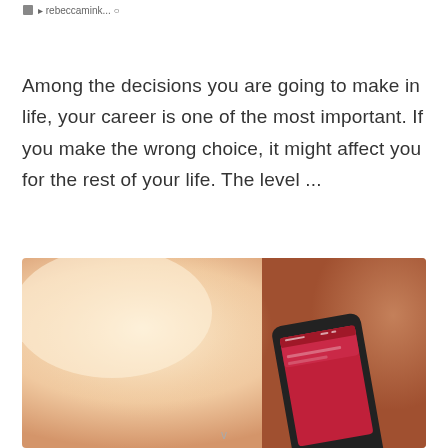...
Among the decisions you are going to make in life, your career is one of the most important. If you make the wrong choice, it might affect you for the rest of your life. The level ...
[Figure (photo): Close-up photo of a smartphone with a red screen being held in a hand, warm bokeh background in peach and cream tones]
v